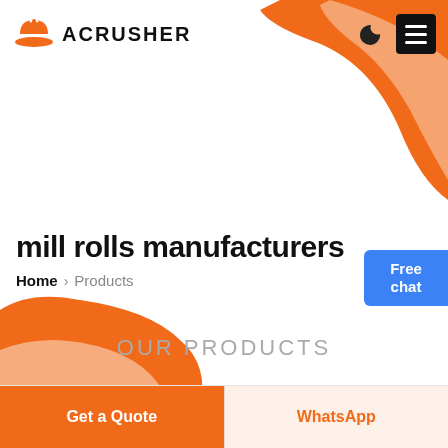[Figure (logo): Acrusher logo with orange hard hat icon and bold uppercase ACRUSHER text]
mill rolls manufacturers
Home > Products
Free chat
OUR PRODUCTS
Get a Quote
WhatsApp